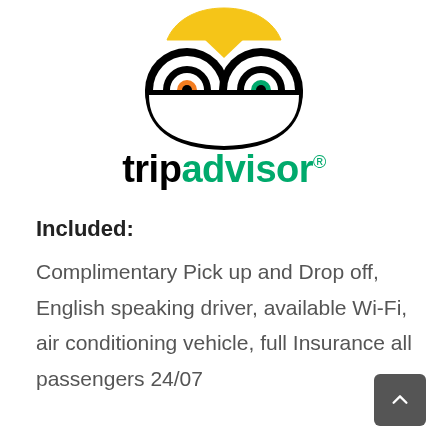[Figure (logo): TripAdvisor owl logo with two large circular eyes, orange left iris, green right iris, and yellow beak/head top]
tripadvisor®
Included:
Complimentary Pick up and Drop off, English speaking driver, available Wi-Fi, air conditioning vehicle, full Insurance all passengers 24/07